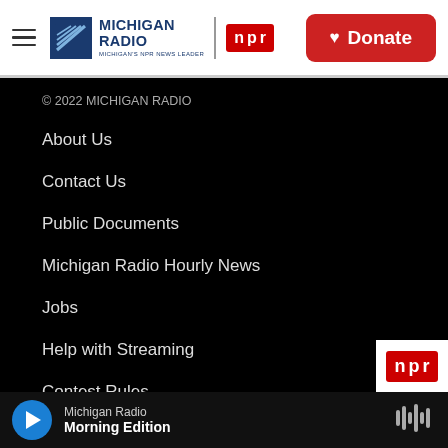Michigan Radio | NPR | Donate
© 2022 MICHIGAN RADIO
About Us
Contact Us
Public Documents
Michigan Radio Hourly News
Jobs
Help with Streaming
Contest Rules
Michigan Radio Morning Edition